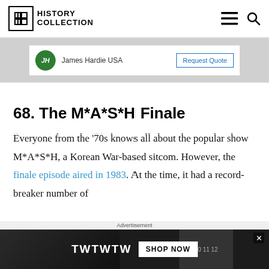HISTORY COLLECTION
[Figure (logo): James Hardie USA advertisement banner with green circular logo and Request Quote button]
68. The M*A*S*H Finale
Everyone from the '70s knows all about the popular show M*A*S*H, a Korean War-based sitcom. However, the finale episode aired in 1983. At the time, it had a record-breaker number of
[Figure (screenshot): Bottom advertisement banner: TWTWTW SHOP NOW with dark watch background]